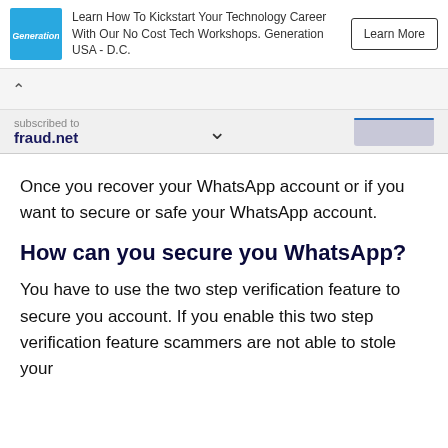[Figure (infographic): Advertisement banner for Generation USA - D.C. with blue logo, text and Learn More button]
Once you recover your WhatsApp account or if you want to secure or safe your WhatsApp account.
How can you secure you WhatsApp?
You have to use the two step verification feature to secure you account. If you enable this two step verification feature scammers are not able to stole your